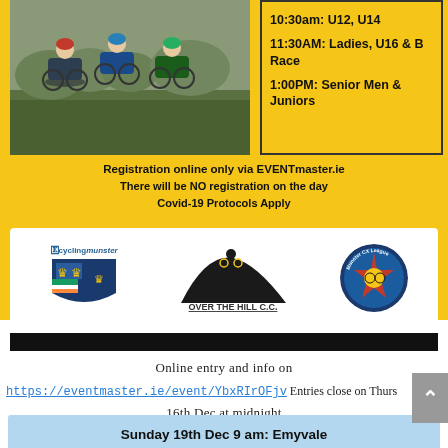[Figure (photo): Cyclists racing on grass/field, viewed from side, three riders visible]
10:30am: U12, U14
11:30AM: Ladies, U16 & B Race
1:00PM: Senior Men & Juniors
Registration online only via EVENTmaster.ie
There will be NO registration on the day
Covid-19 Protocols Apply
[Figure (logo): Cycling Munster logo, Over The Hill C.C. logo, and Munster CX League logo in white box]
Online entry and info on
https://eventmaster.ie/event/YbxRIrOFjv Entries close on Thurs
16th Dec at midnight
Sunday 19th Dec 9 am: Emyvale CC Christmas Hillclimb